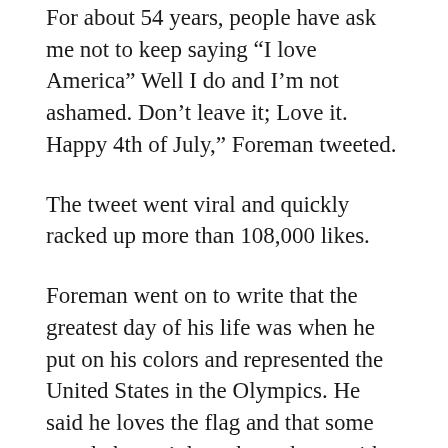For about 54 years, people have ask me not to keep saying “I love America” Well I do and I’m not ashamed. Don’t leave it; Love it. Happy 4th of July,” Foreman tweeted.
The tweet went viral and quickly racked up more than 108,000 likes.
Foreman went on to write that the greatest day of his life was when he put on his colors and represented the United States in the Olympics. He said he loves the flag and that some people haven’t been brought up with people who were patriotic to point them in the right direction. He adds that a lot of people have died so that they can have the privilege of taking a knee during the National Anthem.
After Foreman’s tweet went viral, he did...